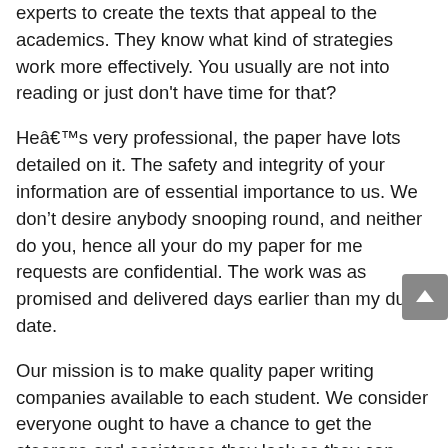experts to create the texts that appeal to the academics. They know what kind of strategies work more effectively. You usually are not into reading or just don't have time for that?
Heâs very professional, the paper have lots detailed on it. The safety and integrity of your information are of essential importance to us. We don’t desire anybody snooping round, and neither do you, hence all your do my paper for me requests are confidential. The work was as promised and delivered days earlier than my due date.
Our mission is to make quality paper writing companies available to each student. We consider everyone ought to have a chance to get the steerage and assistance they lack so they can succeed of their lessons. This brings you self-confidence and peace of thoughts you have by no means experienced earlier than. We deliver dozens and